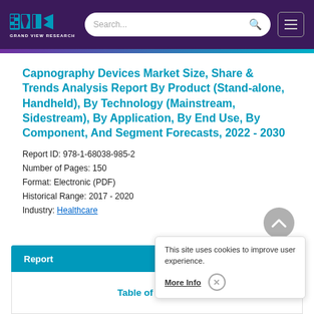GRAND VIEW RESEARCH
Capnography Devices Market Size, Share & Trends Analysis Report By Product (Stand-alone, Handheld), By Technology (Mainstream, Sidestream), By Application, By End Use, By Component, And Segment Forecasts, 2022 - 2030
Report ID: 978-1-68038-985-2
Number of Pages: 150
Format: Electronic (PDF)
Historical Range: 2017 - 2020
Industry: Healthcare
Report
Table of Contents